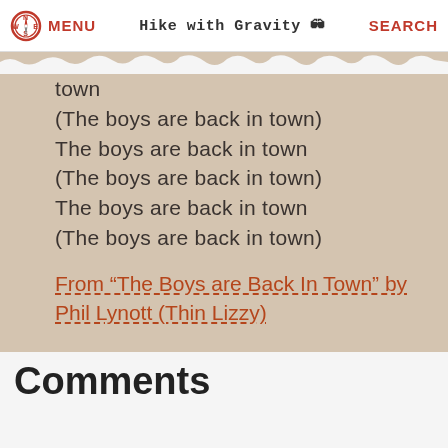MENU  Hike with Gravity  SEARCH
town
(The boys are back in town)
The boys are back in town
(The boys are back in town)
The boys are back in town
(The boys are back in town)
From “The Boys are Back In Town” by Phil Lynott (Thin Lizzy)
Comments